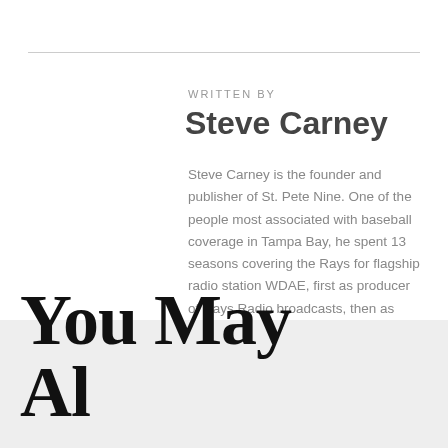WRITTEN BY
Steve Carney
Steve Carney is the founder and publisher of St. Pete Nine. One of the people most associated with baseball coverage in Tampa Bay, he spent 13 seasons covering the Rays for flagship radio station WDAE, first as producer of Rays Radio broadcasts, then as beat reporter beginning in 2011. He likes new analytics and aged bourbon, and is the owner of one of the ugliest knuckleballs ever witnessed by baseball scouts.
You May Also Like